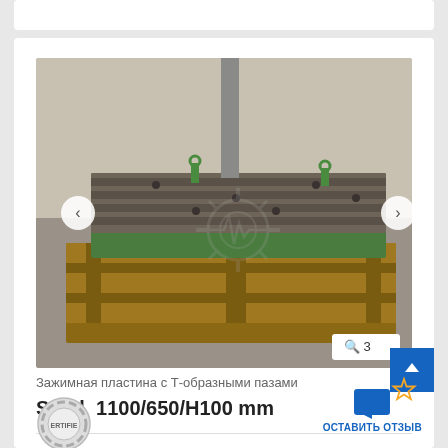[Figure (photo): A cast iron T-slot clamping plate (Zажимная пластина) with green painted sides, resting on a wooden pallet. The plate has multiple T-shaped grooves and bolt holes on its top surface. Two green lifting hooks are visible.]
Зажимная пластина с Т-образными пазами
Stahl  1100/650/H100 mm
ОСТАВИТЬ ОТЗЫВ